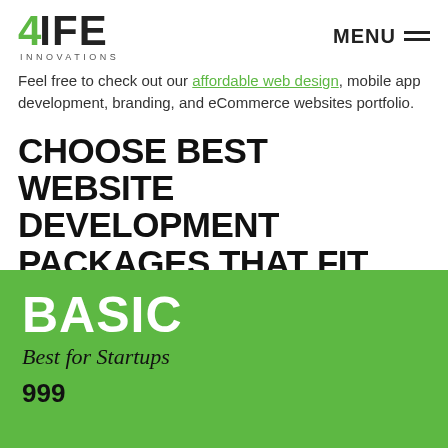4LIFE INNOVATIONS | MENU
Feel free to check out our affordable web design, mobile app development, branding, and eCommerce websites portfolio.
CHOOSE BEST WEBSITE DEVELOPMENT PACKAGES THAT FIT FOR YOUR BUSINESS
BASIC
Best for Startups
999